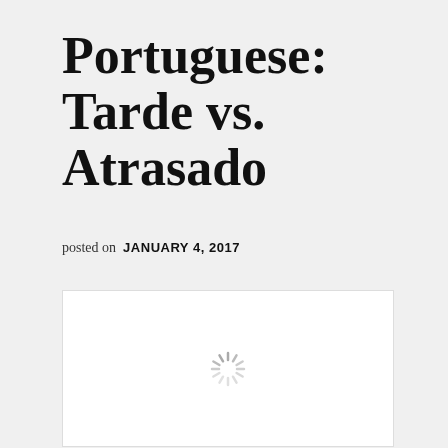Portuguese: Tarde vs. Atrasado
posted on  JANUARY 4, 2017
[Figure (illustration): White rectangle with a loading spinner icon centered inside, indicating an image that has not yet loaded.]